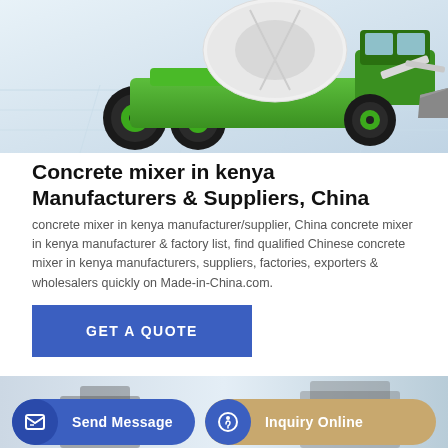[Figure (photo): Green and black concrete mixer truck/machine on a light gray tiled floor background]
Concrete mixer in kenya Manufacturers & Suppliers, China
concrete mixer in kenya manufacturer/supplier, China concrete mixer in kenya manufacturer & factory list, find qualified Chinese concrete mixer in kenya manufacturers, suppliers, factories, exporters & wholesalers quickly on Made-in-China.com.
[Figure (other): GET A QUOTE blue button]
[Figure (photo): Partial view of another concrete mixer machine, bottom of page]
[Figure (other): Bottom bar with Send Message and Inquiry Online buttons]